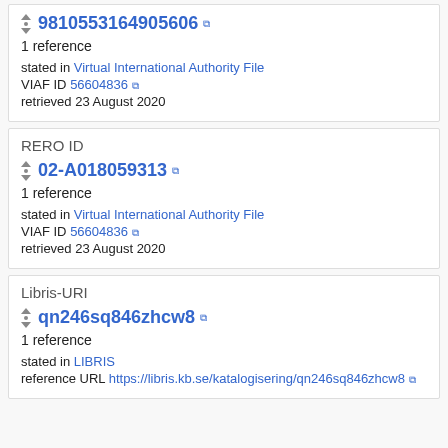9810553164905606
1 reference
stated in Virtual International Authority File
VIAF ID 56604836
retrieved 23 August 2020
RERO ID
02-A018059313
1 reference
stated in Virtual International Authority File
VIAF ID 56604836
retrieved 23 August 2020
Libris-URI
qn246sq846zhcw8
1 reference
stated in LIBRIS
reference URL https://libris.kb.se/katalogisering/qn246sq846zhcw8